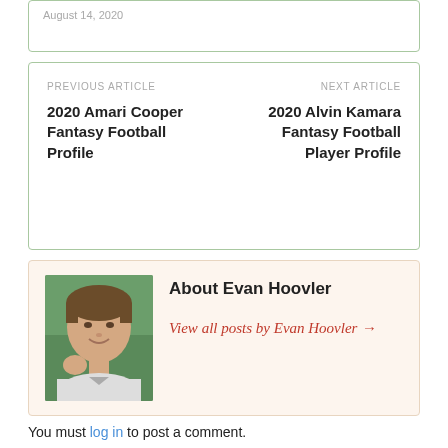August 14, 2020
PREVIOUS ARTICLE
2020 Amari Cooper Fantasy Football Profile

NEXT ARTICLE
2020 Alvin Kamara Fantasy Football Player Profile
About Evan Hoovler
View all posts by Evan Hoovler →
You must log in to post a comment.